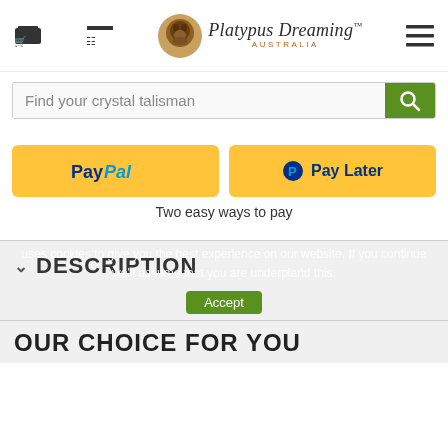Platypus Dreaming AUSTRALIA
Find your crystal talisman
[Figure (screenshot): PayPal and Pay Later payment buttons in yellow/gold color with PayPal branding]
Two easy ways to pay
DESCRIPTION
uses cookies to give you the best experience on our website. If you continue we'll assume that you are underplańd this.
OUR CHOICE FOR YOU